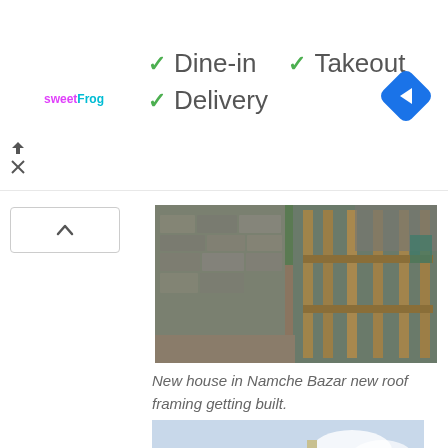✓ Dine-in  ✓ Takeout  ✓ Delivery
[Figure (photo): Construction photo of new house in Namche Bazar showing stone walls and wood roof framing]
New house in Namche Bazar new roof framing getting built.
[Figure (photo): Multi-story stone building in Namche Bazar with traditional Tibetan architectural details and dark wood window frames]